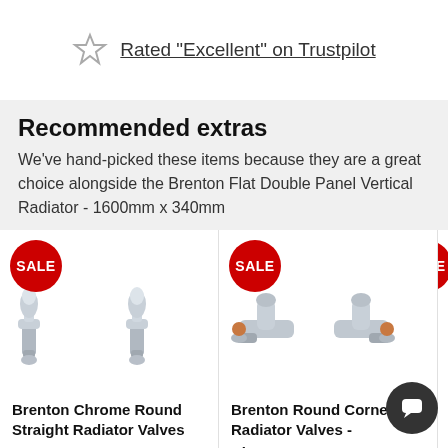Rated "Excellent" on Trustpilot
Recommended extras
We've hand-picked these items because they are a great choice alongside the Brenton Flat Double Panel Vertical Radiator - 1600mm x 340mm
[Figure (photo): Brenton Chrome Round Straight Radiator Valves - pair of chrome valves with sale badge]
Brenton Chrome Round Straight Radiator Valves
[Figure (photo): Brenton Round Corner Radiator Valves - Chrome - pair of chrome corner valves with sale badge]
Brenton Round Corner Radiator Valves - Chrome